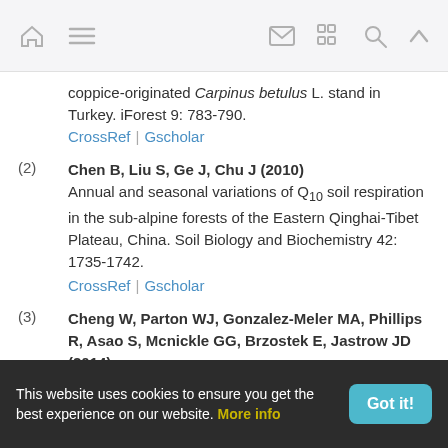[navigation bar with home, menu, mail, grid, search, up icons]
coppice-originated Carpinus betulus L. stand in Turkey. iForest 9: 783-790.
CrossRef | Gscholar
(2) Chen B, Liu S, Ge J, Chu J (2010) Annual and seasonal variations of Q10 soil respiration in the sub-alpine forests of the Eastern Qinghai-Tibet Plateau, China. Soil Biology and Biochemistry 42: 1735-1742.
CrossRef | Gscholar
(3) Cheng W, Parton WJ, Gonzalez-Meler MA, Phillips R, Asao S, Mcnickle GG, Brzostek E, Jastrow JD (2014) Synthesis and modeling perspectives of rhizosphere priming. New Phytologist 201 (1): 31-44.
This website uses cookies to ensure you get the best experience on our website. More info